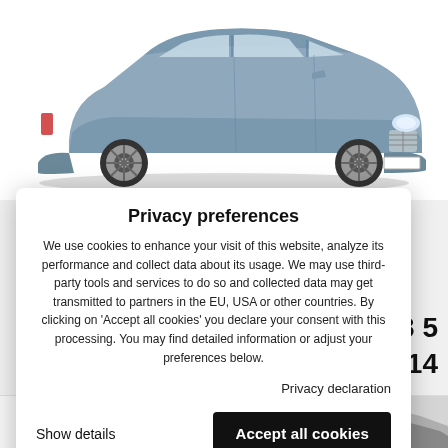[Figure (photo): Silver/blue Mercedes-Benz C-Class estate (W203) station wagon photographed from a front-left angle on a white background]
Privacy preferences
We use cookies to enhance your visit of this website, analyze its performance and collect data about its usage. We may use third-party tools and services to do so and collected data may get transmitted to partners in the EU, USA or other countries. By clicking on 'Accept all cookies' you declare your consent with this processing. You may find detailed information or adjust your preferences below.
Privacy declaration
Show details
Accept all cookies
203 5
14
[Figure (photo): Partial view of car parts or accessories at bottom of page]